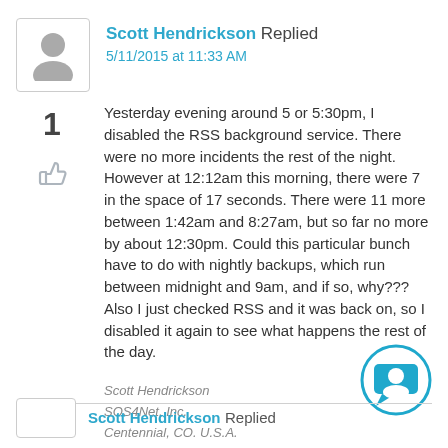[Figure (other): User avatar placeholder icon (silhouette of person)]
Scott Hendrickson Replied
5/11/2015 at 11:33 AM
1
[Figure (other): Thumbs up icon]
Yesterday evening around 5 or 5:30pm, I disabled the RSS background service.  There were no more incidents the rest of the night.  However  at 12:12am this morning, there were 7 in the space of 17 seconds.  There were 11 more between 1:42am and 8:27am, but so far no more by about 12:30pm. Could this particular bunch have to do with nightly backups, which run between midnight and 9am, and if so, why???  Also I just checked RSS and it was back on, so I disabled it again to see what happens the rest of the day.
Scott Hendrickson
SOS4Net, Inc.
Centennial, CO. U.S.A.
[Figure (other): Customer support chat badge icon — blue circle with chat bubble and person silhouette]
Scott Hendrickson Replied